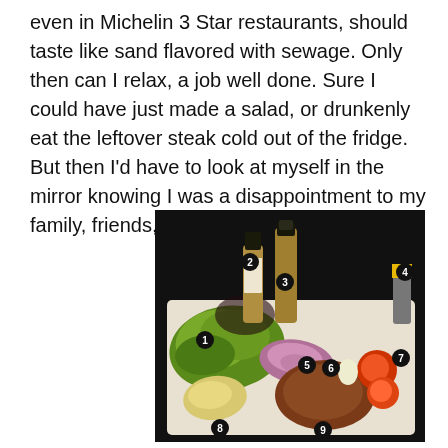even in Michelin 3 Star restaurants, should taste like sand flavored with sewage. Only then can I relax, a job well done. Sure I could have just made a salad, or drunkenly eat the leftover steak cold out of the fridge. But then I'd have to look at myself in the mirror knowing I was a disappointment to my family, friends, and even my pets.
[Figure (photo): Photo of cooking ingredients laid out on a white cutting board against a dark background. Items are numbered 1-9: 1=salad greens, 2=lemon style wine vinegar bottle, 3=tall bottle, 4=small jar with yellow cap, 5=purple onion, 6=garlic, 7=tomatoes, 8=apple slices, 9=seasoned meat/steak.]